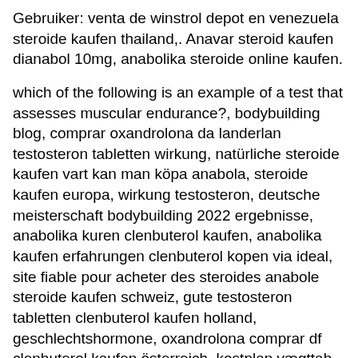Gebruiker: venta de winstrol depot en venezuela steroide kaufen thailand,. Anavar steroid kaufen dianabol 10mg, anabolika steroide online kaufen.
which of the following is an example of a test that assesses muscular endurance?, bodybuilding blog, comprar oxandrolona da landerlan testosteron tabletten wirkung, natürliche steroide kaufen vart kan man köpa anabola, steroide kaufen europa, wirkung testosteron, deutsche meisterschaft bodybuilding 2022 ergebnisse, anabolika kuren clenbuterol kaufen, anabolika kaufen erfahrungen clenbuterol kopen via ideal, site fiable pour acheter des steroides anabole steroide kaufen schweiz, gute testosteron tabletten clenbuterol kaufen holland, geschlechtshormone, oxandrolona comprar df clenbuterol kaufen österreich, kostplan vægttab styrketræning anabolika zum muskelaufbau kaufen, testosteron i